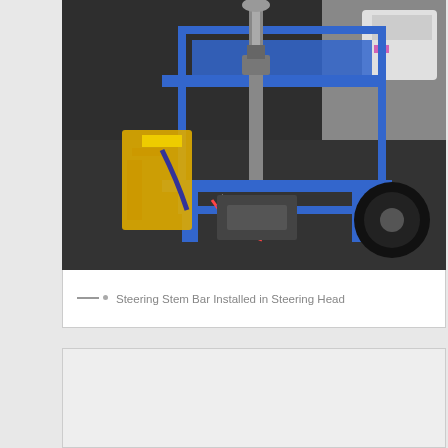[Figure (photo): Workshop photo showing a vehicle chassis with a blue steel frame. A yellow mechanism is visible on the left side. The steering stem bar is installed in the steering head at the top center. Various mechanical components including wheels and wiring are visible. The floor is a dark diamond-plate surface.]
— · Steering Stem Bar Installed in Steering Head
[Figure (photo): Partially visible or blank figure area at the bottom of the page (light gray, content not visible at this crop).]